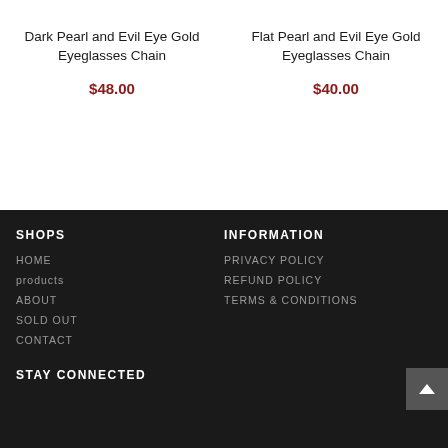Dark Pearl and Evil Eye Gold Eyeglasses Chain
$48.00
Flat Pearl and Evil Eye Gold Eyeglasses Chain
$40.00
SHOPS
HOME
products
ABOUT
SOLD OUT
CONTACT
INFORMATION
PRIVACY POLICY
REFUND POLICY
TERMS & CONDITIONS
STAY CONNECTED